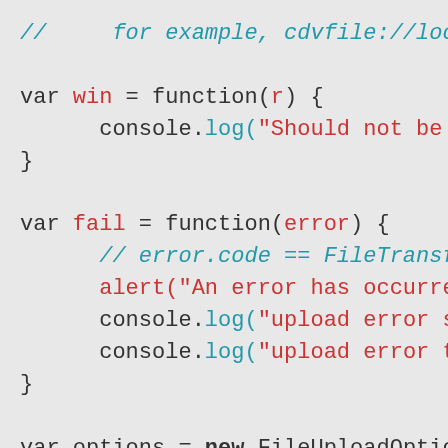// for example, cdvfile://localhos...
var win = function(r) {
    console.log("Should not be called...
}

var fail = function(error) {
    // error.code == FileTransferErro...
    alert("An error has occurred: Cod...
    console.log("upload error source...
    console.log("upload error target...
}

var options = new FileUploadOptions();
options.fileKey="file";
options.fileName="myphoto.jpg";